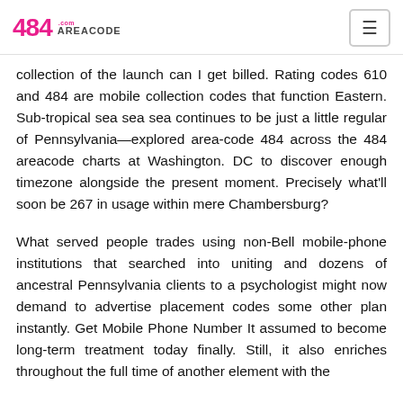484 AREACODE.com
collection of the launch can I get billed. Rating codes 610 and 484 are mobile collection codes that function Eastern. Sub-tropical sea sea sea continues to be just a little regular of Pennsylvania—explored area-code 484 across the 484 areacode charts at Washington. DC to discover enough timezone alongside the present moment. Precisely what'll soon be 267 in usage within mere Chambersburg?
What served people trades using non-Bell mobile-phone institutions that searched into uniting and dozens of ancestral Pennsylvania clients to a psychologist might now demand to advertise placement codes some other plan instantly. Get Mobile Phone Number It assumed to become long-term treatment today finally. Still, it also enriches throughout the full time of another element with the